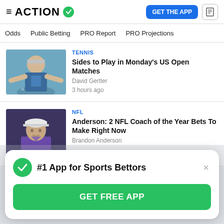ACTION — GET THE APP
Odds
Public Betting
PRO Report
PRO Projections
[Figure (photo): Tennis player in athletic wear with arms spread, wearing visor]
TENNIS
Sides to Play in Monday's US Open Matches
David Gertler
3 hours ago
[Figure (photo): NFL coach wearing white cap and purple jacket]
NFL
Anderson: 2 NFL Coach of the Year Bets To Make Right Now
Brandon Anderson
#1 App for Sports Bettors
GET FREE APP